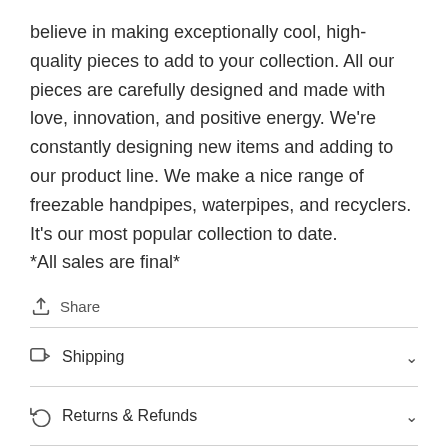believe in making exceptionally cool, high-quality pieces to add to your collection. All our pieces are carefully designed and made with love, innovation, and positive energy. We're constantly designing new items and adding to our product line. We make a nice range of freezable handpipes, waterpipes, and recyclers. It's our most popular collection to date. *All sales are final*
Share
Shipping
Returns & Refunds